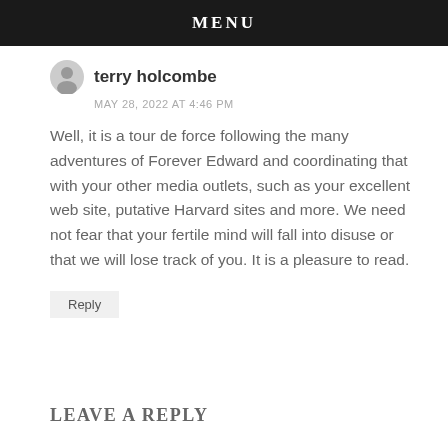MENU
terry holcombe
MAY 28, 2022 AT 4:46 PM
Well, it is a tour de force following the many adventures of Forever Edward and coordinating that with your other media outlets, such as your excellent web site, putative Harvard sites and more. We need not fear that your fertile mind will fall into disuse or that we will lose track of you. It is a pleasure to read.
Reply
LEAVE A REPLY